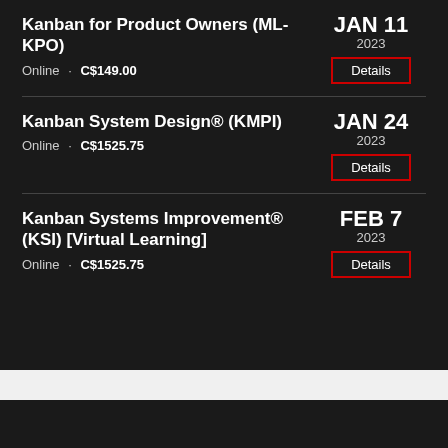Kanban for Product Owners (ML-KPO) | JAN 11 2023 | Online · C$149.00 | Details
Kanban System Design® (KMPI) | JAN 24 2023 | Online · C$1525.75 | Details
Kanban Systems Improvement® (KSI) [Virtual Learning] | FEB 7 2023 | Online · C$1525.75 | Details